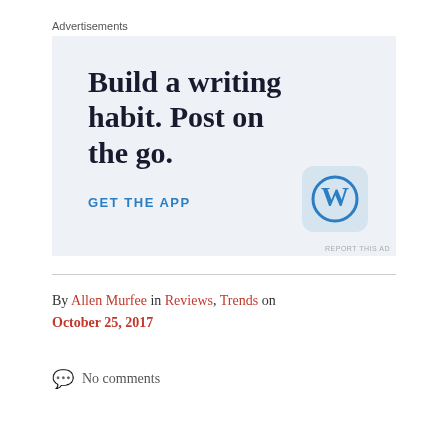Advertisements
[Figure (advertisement): WordPress mobile app advertisement with text 'Build a writing habit. Post on the go.' and 'GET THE APP' call to action with WordPress logo icon on light blue background]
REPORT THIS AD
By Allen Murfee in Reviews, Trends on October 25, 2017
No comments